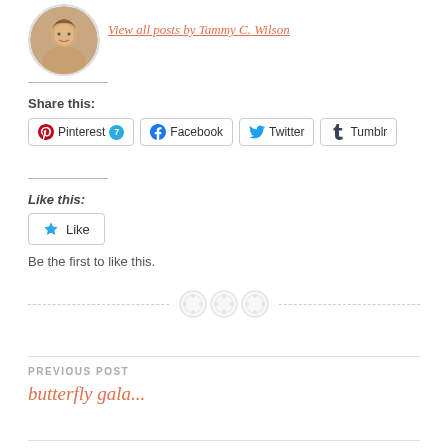[Figure (photo): Circular avatar photo of a woman with blonde hair smiling]
View all posts by Tammy C. Wilson
Share this:
Pinterest 7  Facebook  Twitter  Tumblr
Like this:
Like
Be the first to like this.
[Figure (illustration): Three decorative button icons as a divider]
PREVIOUS POST
butterfly gala...